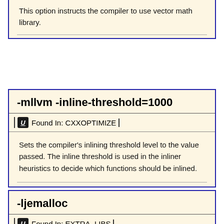This option instructs the compiler to use vector math library.
-mllvm -inline-threshold=1000
Found In: CXXOPTIMIZE
Sets the compiler's inlining threshold level to the value passed. The inline threshold is used in the inliner heuristics to decide which functions should be inlined.
-ljemalloc
Found In: EXTRA_LIBS